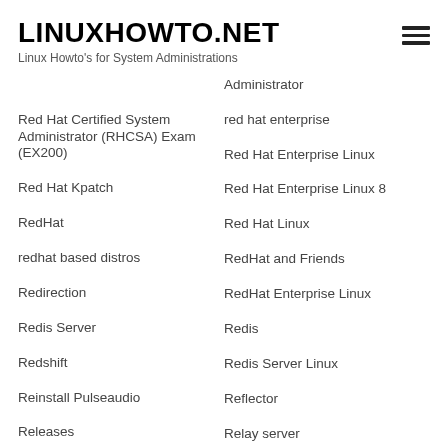LINUXHOWTO.NET
Linux Howto's for System Administrations
Administrator
Red Hat Certified System Administrator (RHCSA) Exam (EX200)
red hat enterprise
Red Hat Enterprise Linux
Red Hat Enterprise Linux 8
Red Hat Kpatch
Red Hat Linux
RedHat
RedHat and Friends
redhat based distros
RedHat Enterprise Linux
Redirection
Redis
Redis Server
Redis Server Linux
Redshift
Reflector
Reinstall Pulseaudio
Relay server
Releases
reload nginx